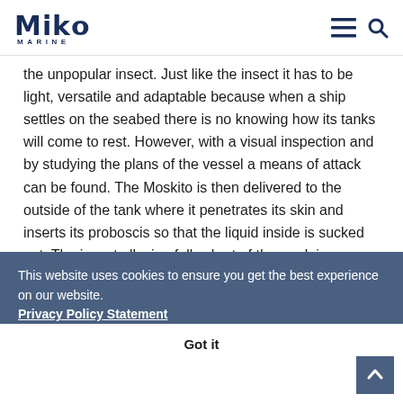Miko Marine
the unpopular insect. Just like the insect it has to be light, versatile and adaptable because when a ship settles on the seabed there is no knowing how its tanks will come to rest. However, with a visual inspection and by studying the plans of the vessel a means of attack can be found. The Moskito is then delivered to the outside of the tank where it penetrates its skin and inserts its proboscis so that the liquid inside is sucked out. The insect allusion falls short of the mark in one sense. The principle is the same and at 63 cm (25-inches) by 45 cm (17-inches) and weighing only 80 kg, by subsea engineering standards the tool has an insect's light touch.
This website uses cookies to ensure you get the best experience on our website. Privacy Policy Statement
Got it